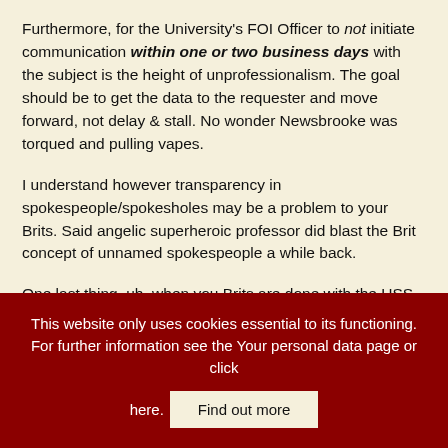Furthermore, for the University's FOI Officer to not initiate communication within one or two business days with the subject is the height of unprofessionalism. The goal should be to get the data to the requester and move forward, not delay & stall. No wonder Newsbrooke was torqued and pulling vapes.
I understand however transparency in spokespeople/spokesholes may be a problem to your Brits. Said angelic superheroic professor did blast the Brit concept of unnamed spokespeople a while back.
One last thing, uh, when you Brits are done with the USS
This website only uses cookies essential to its functioning. For further information see the Your personal data page or click here. Find out more